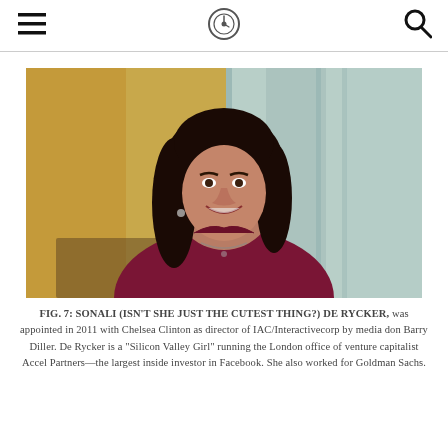[navigation header with hamburger menu, circular logo, and search icon]
[Figure (photo): Professional photo of Sonali De Rycker, a woman with long dark hair wearing a dark maroon/burgundy top, smiling, photographed in an office environment with glass walls and wooden panels in the background.]
FIG. 7: SONALI (ISN'T SHE JUST THE CUTEST THING?) DE RYCKER, was appointed in 2011 with Chelsea Clinton as director of IAC/Interactivecorp by media don Barry Diller. De Rycker is a "Silicon Valley Girl" running the London office of venture capitalist Accel Partners—the largest inside investor in Facebook. She also worked for Goldman Sachs.